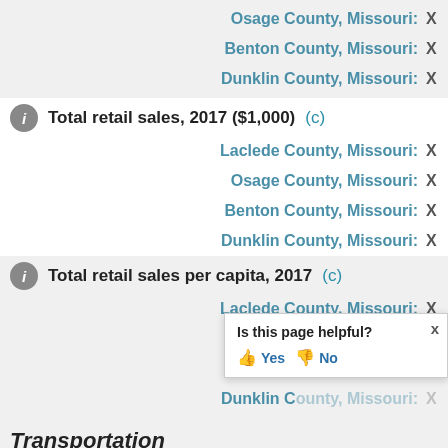Osage County, Missouri: X
Benton County, Missouri: X
Dunklin County, Missouri: X
Total retail sales, 2017 ($1,000) (c)
Laclede County, Missouri: X
Osage County, Missouri: X
Benton County, Missouri: X
Dunklin County, Missouri: X
Total retail sales per capita, 2017 (c)
Laclede County, Missouri: X
Osage County, Missouri: X
Benton County, Missouri: X
Dunklin County, Missouri: X
Is this page helpful? Yes No
Transportation